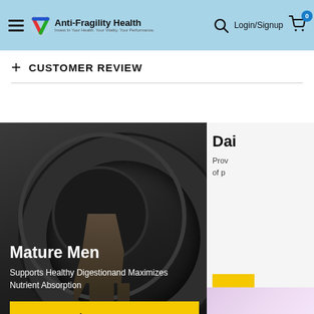Anti-Fragility Health — Login/Signup — Cart 0
+ CUSTOMER REVIEW
[Figure (photo): Mature Men promotional banner showing muscular man flipping a large tire. Text: 'Mature Men — Supports Healthy Digestionand Maximizes Nutrient Absorption — Learn more button']
[Figure (photo): Partially visible right banner showing 'Dai...' title and 'Prov... of p...' text with yellow button and pink/purple supplement pills at bottom]